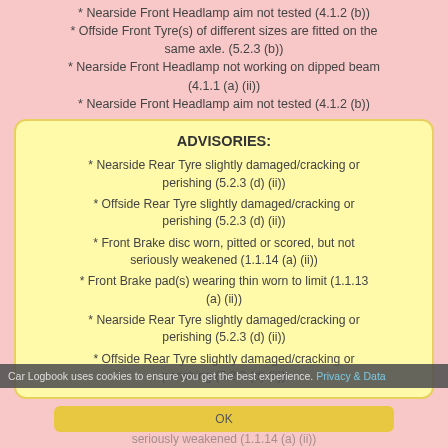* Nearside Front Headlamp aim not tested (4.1.2 (b))
* Offside Front Tyre(s) of different sizes are fitted on the same axle. (5.2.3 (b))
* Nearside Front Headlamp not working on dipped beam (4.1.1 (a) (ii))
* Nearside Front Headlamp aim not tested (4.1.2 (b))
ADVISORIES:
* Nearside Rear Tyre slightly damaged/cracking or perishing (5.2.3 (d) (ii))
* Offside Rear Tyre slightly damaged/cracking or perishing (5.2.3 (d) (ii))
* Front Brake disc worn, pitted or scored, but not seriously weakened (1.1.14 (a) (ii))
* Front Brake pad(s) wearing thin worn to limit (1.1.13 (a) (ii))
* Nearside Rear Tyre slightly damaged/cracking or perishing (5.2.3 (d) (ii))
* Offside Rear Tyre slightly damaged/cracking or perishing (5.2.3 (d) (ii))
Car Logbook uses cookies to ensure you get the best experience. Privacy & Data
* Front Brake disc worn, pitted or scored, but not seriously weakened (1.1.14 (a) (ii))